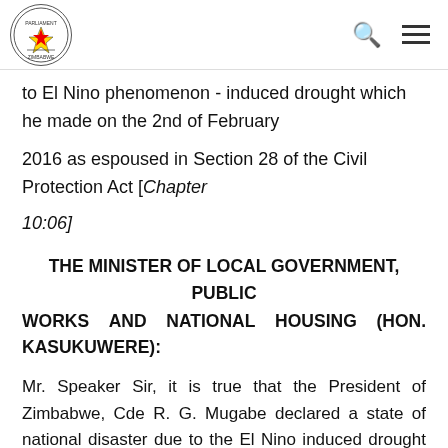Parliament of Zimbabwe logo, search icon, menu icon
to El Nino phenomenon - induced drought which he made on the 2nd of February
2016 as espoused in Section 28 of the Civil Protection Act [Chapter
10:06]
THE MINISTER OF LOCAL GOVERNMENT, PUBLIC WORKS AND NATIONAL HOUSING (HON. KASUKUWERE):
Mr. Speaker Sir, it is true that the President of Zimbabwe, Cde R. G. Mugabe declared a state of national disaster due to the El Nino induced drought which he made on 2nd